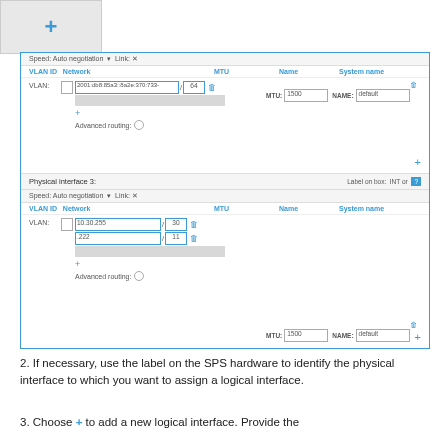[Figure (screenshot): Network interface configuration UI showing two physical interface panels with VLAN ID, Network, MTU, Name, and System name columns. Top panel shows an IPv6 address (2001:db8:85a3::8a2e:370:733-) with prefix /64. Bottom panel (Physical interface 3) shows two addresses: 10.30.255 /30 and .222 /11. Both panels have Advanced routing checkboxes and MTU value 1500, Name 'default'.]
2. If necessary, use the label on the SPS hardware to identify the physical interface to which you want to assign a logical interface.
3. Choose + to add a new logical interface. Provide the following: